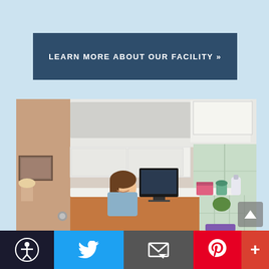LEARN MORE ABOUT OUR FACILITY »
[Figure (photo): Medical facility reception desk with a smiling female receptionist behind a counter with a computer monitor, flanked by white cabinets above; waiting area with purple chairs visible on the right, large windows providing natural light]
Accessibility | Twitter | Email | Pinterest | More